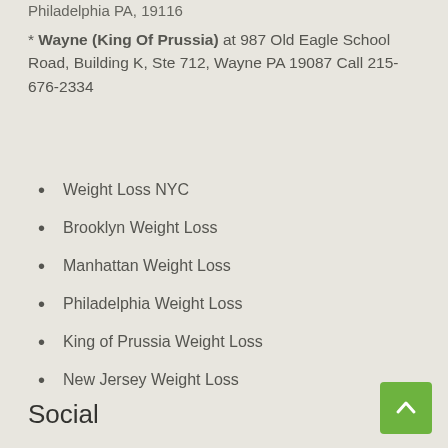Philadelphia PA, 19116
* Wayne (King Of Prussia) at 987 Old Eagle School Road, Building K, Ste 712, Wayne PA 19087 Call 215-676-2334
Weight Loss NYC
Brooklyn Weight Loss
Manhattan Weight Loss
Philadelphia Weight Loss
King of Prussia Weight Loss
New Jersey Weight Loss
Social